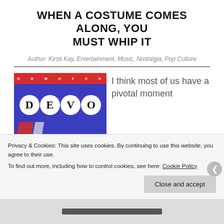WHEN A COSTUME COMES ALONG, YOU MUST WHIP IT
Author: Kirsti Kay, Entertainment, Music, Nostalgia, Pop Culture
[Figure (photo): DEVO 'Freedom of Choice' album cover showing the band name in white circles on a blue background with a red bar at top reading FREEDOM OF CHOICE]
I think most of us have a pivotal moment
Privacy & Cookies: This site uses cookies. By continuing to use this website, you agree to their use.
To find out more, including how to control cookies, see here: Cookie Policy
Close and accept